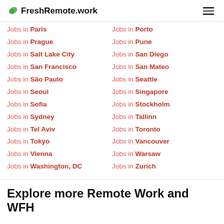FreshRemote.work
Jobs in Paris
Jobs in Porto
Jobs in Prague
Jobs in Pune
Jobs in Salt Lake City
Jobs in San Diego
Jobs in San Francisco
Jobs in San Mateo
Jobs in São Paulo
Jobs in Seattle
Jobs in Seoul
Jobs in Singapore
Jobs in Sofia
Jobs in Stockholm
Jobs in Sydney
Jobs in Tallinn
Jobs in Tel Aviv
Jobs in Toronto
Jobs in Tokyo
Jobs in Vancouver
Jobs in Vienna
Jobs in Warsaw
Jobs in Washington, DC
Jobs in Zurich
Explore more Remote Work and WFH